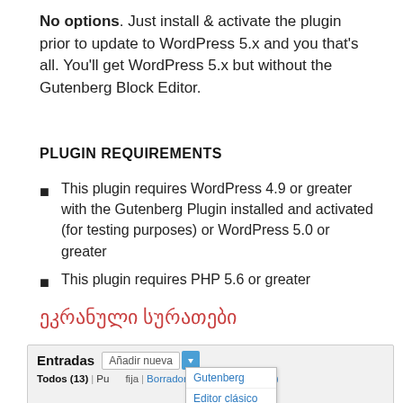No options. Just install & activate the plugin prior to update to WordPress 5.x and you that's all. You'll get WordPress 5.x but without the Gutenberg Block Editor.
PLUGIN REQUIREMENTS
This plugin requires WordPress 4.9 or greater with the Gutenberg Plugin installed and activated (for testing purposes) or WordPress 5.0 or greater
This plugin requires PHP 5.6 or greater
ეკრანული სურათები
[Figure (screenshot): Screenshot of WordPress admin Entradas section with Añadir nueva button and dropdown showing Gutenberg and Editor clásico options, with filter row showing Todos (13), and links for fija, Borradores (4), Papelera (2)]